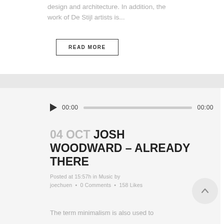design and architecture. In addition, the work of De Stijl artists is...
READ MORE
[Figure (other): Audio player widget with play button, 00:00 time display, progress bar, and 00:00 end time]
04 OCT JOSH WOODWARD – ALREADY THERE
Posted at 15:57h in Music by joechuen • 0 Comments • 158 Likes
The term minimalism is also used to